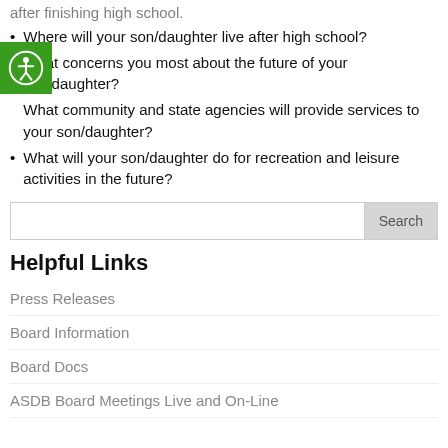Where will your son/daughter live after high school?
What concerns you most about the future of your son/daughter?
What community and state agencies will provide services to your son/daughter?
What will your son/daughter do for recreation and leisure activities in the future?
Helpful Links
Press Releases
Board Information
Board Docs
ASDB Board Meetings Live and On-Line